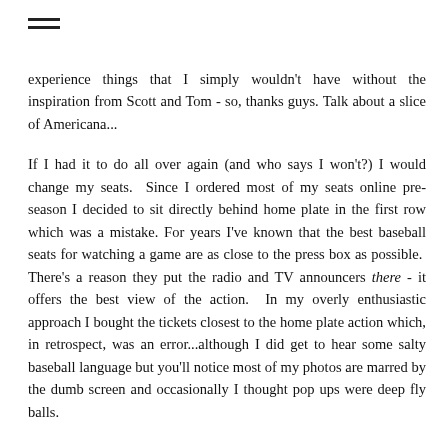≡
experience things that I simply wouldn't have without the inspiration from Scott and Tom - so, thanks guys. Talk about a slice of Americana...
If I had it to do all over again (and who says I won't?) I would change my seats. Since I ordered most of my seats online pre-season I decided to sit directly behind home plate in the first row which was a mistake. For years I've known that the best baseball seats for watching a game are as close to the press box as possible. There's a reason they put the radio and TV announcers there - it offers the best view of the action. In my overly enthusiastic approach I bought the tickets closest to the home plate action which, in retrospect, was an error...although I did get to hear some salty baseball language but you'll notice most of my photos are marred by the dumb screen and occasionally I thought pop ups were deep fly balls.